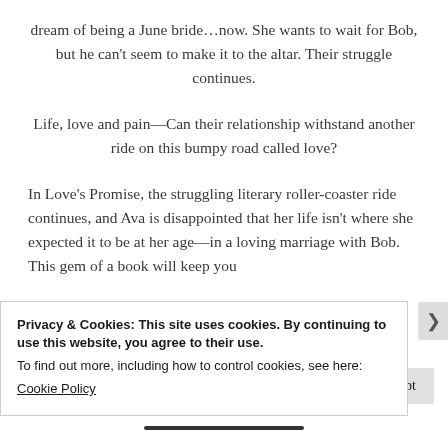dream of being a June bride...now. She wants to wait for Bob, but he can't seem to make it to the altar. Their struggle continues.
Life, love and pain—Can their relationship withstand another ride on this bumpy road called love?
In Love's Promise, the struggling literary roller-coaster ride continues, and Ava is disappointed that her life isn't where she expected it to be at her age—in a loving marriage with Bob. This gem of a book will keep you
Privacy & Cookies: This site uses cookies. By continuing to use this website, you agree to their use.
To find out more, including how to control cookies, see here:
Cookie Policy
Close and accept